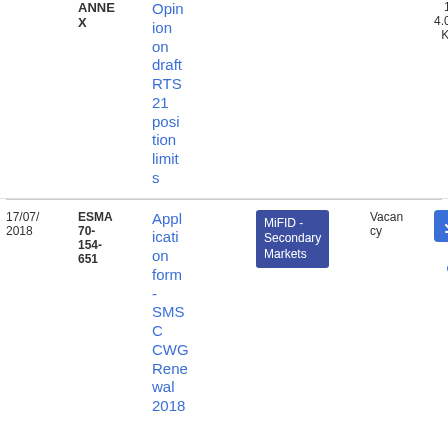| Date | Reference | Title | Tag | Vacancy | File |
| --- | --- | --- | --- | --- | --- |
|  | ANNEX | Opinion draft RTS 21 position limits |  |  | 12
4.02 KB |
| 17/07/2018 | ESMA 70-154-651 | Application form - SMSC CWG Renewal 2018 | MiFID - Secondary Markets | Vacancy | DOCX
37.81 KB |